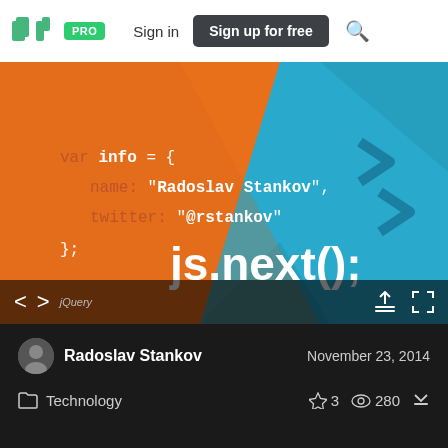SpeakerDeck PRO Sign in Sign up for free
[Figure (screenshot): Presentation slide showing JavaScript code: var info = { name: 'Radoslav Stankov', twitter: '@rstankov' }; with 'js.next();' text on an orange and blue background with jQuery logo]
Radoslav Stankov   November 23, 2014
Technology   ☆ 3  © 280